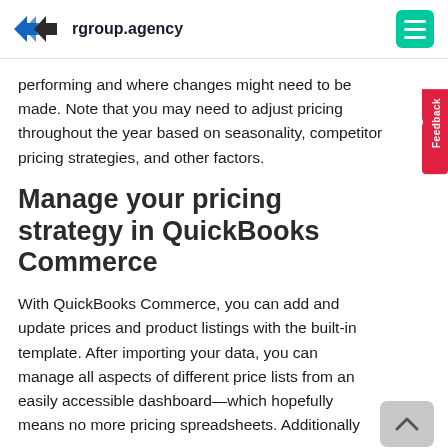rgroup.agency
performing and where changes might need to be made. Note that you may need to adjust pricing throughout the year based on seasonality, competitor pricing strategies, and other factors.
Manage your pricing strategy in QuickBooks Commerce
With QuickBooks Commerce, you can add and update prices and product listings with the built-in template. After importing your data, you can manage all aspects of different price lists from an easily accessible dashboard—which hopefully means no more pricing spreadsheets. Additionally